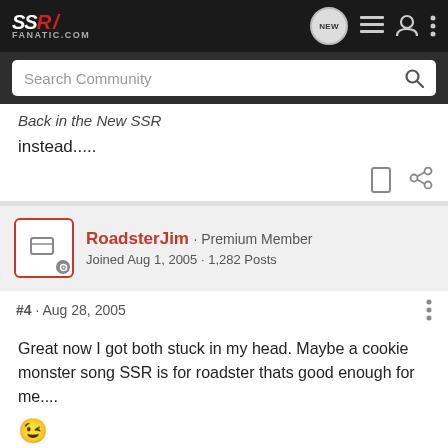SSR Fanatic.com
Back in the New SSR
instead.....
RoadsterJim · Premium Member
Joined Aug 1, 2005 · 1,282 Posts
#4 · Aug 28, 2005
Great now I got both stuck in my head. Maybe a cookie monster song SSR is for roadster thats good enough for me....